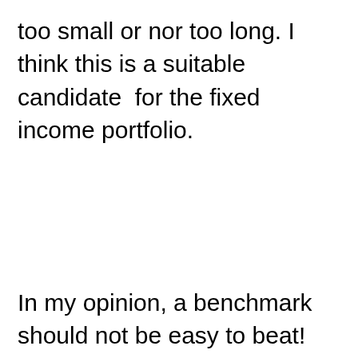too small or nor too long. I think this is a suitable candidate  for the fixed income portfolio.
In my opinion, a benchmark should not be easy to beat! Using NIFTY TRI,  BSE